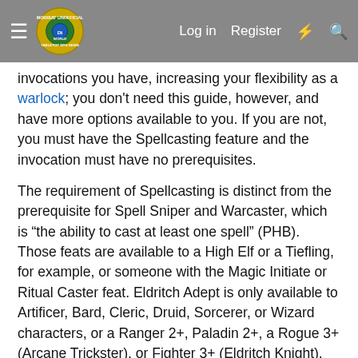Morrus' Unofficial Tabletop RPG News — Log in | Register
invocations you have, increasing your flexibility as a warlock; you don't need this guide, however, and have more options available to you. If you are not, you must have the Spellcasting feature and the invocation must have no prerequisites.
The requirement of Spellcasting is distinct from the prerequisite for Spell Sniper and Warcaster, which is “the ability to cast at least one spell” (PHB). Those feats are available to a High Elf or a Tiefling, for example, or someone with the Magic Initiate or Ritual Caster feat. Eldritch Adept is only available to Artificer, Bard, Cleric, Druid, Sorcerer, or Wizard characters, or a Ranger 2+, Paladin 2+, a Rogue 3+ (Arcane Trickster), or Fighter 3+ (Eldritch Knight). Indeed, it’s easier to say who cannot take the feat: Barbarians, Fighters (excluding Eldritch Knights), Monks, Rogues (excluding Arcane Tricksters), and Rangers and Paladins at